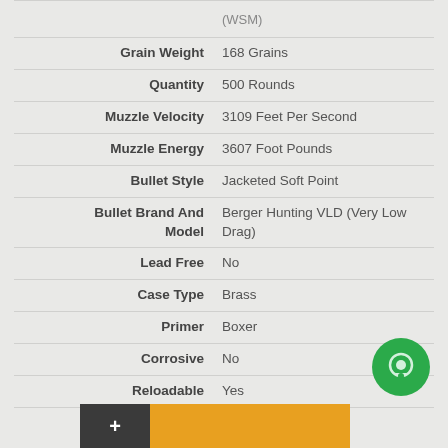| Property | Value |
| --- | --- |
| (WSM) |  |
| Grain Weight | 168 Grains |
| Quantity | 500 Rounds |
| Muzzle Velocity | 3109 Feet Per Second |
| Muzzle Energy | 3607 Foot Pounds |
| Bullet Style | Jacketed Soft Point |
| Bullet Brand And Model | Berger Hunting VLD (Very Low Drag) |
| Lead Free | No |
| Case Type | Brass |
| Primer | Boxer |
| Corrosive | No |
| Reloadable | Yes |
| G1 Ballistic Coefficient | 0.473 |
| Sectional Density | 0.253 |
| Velocity Rating | Supersonic |